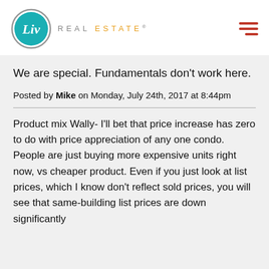Liv Real Estate
We are special. Fundamentals don't work here.
Posted by Mike on Monday, July 24th, 2017 at 8:44pm
Product mix Wally- I'll bet that price increase has zero to do with price appreciation of any one condo. People are just buying more expensive units right now, vs cheaper product. Even if you just look at list prices, which I know don't reflect sold prices, you will see that same-building list prices are down significantly